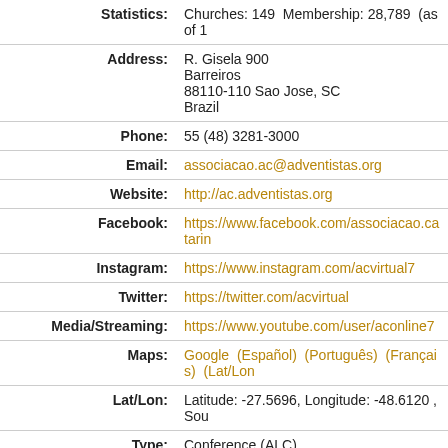| Field | Value |
| --- | --- |
| Statistics: | Churches: 149  Membership: 28,789  (as of ... |
| Address: | R. Gisela 900
Barreiros
88110-110 Sao Jose, SC
Brazil |
| Phone: | 55 (48) 3281-3000 |
| Email: | associacao.ac@adventistas.org |
| Website: | http://ac.adventistas.org |
| Facebook: | https://www.facebook.com/associacao.catarin... |
| Instagram: | https://www.instagram.com/acvirtual7 |
| Twitter: | https://twitter.com/acvirtual |
| Media/Streaming: | https://www.youtube.com/user/aconline7 |
| Maps: | Google  (Español)  (Português)  (Français)  (Lat/Lon... |
| Lat/Lon: | Latitude: -27.5696, Longitude: -48.6120 , Sou... |
| Type: | Conference (ALC) |
| Updated: | Wednesday, January 20, 2021 |